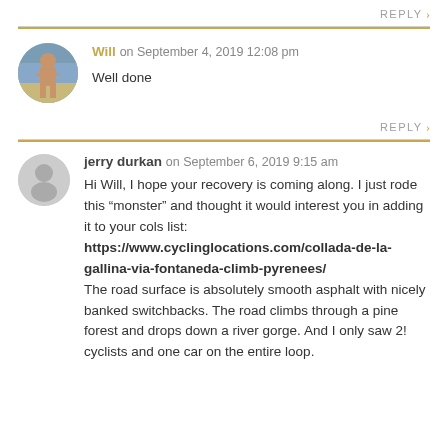REPLY >
[Figure (photo): Round avatar photo of Will, showing a person outdoors on a hillside]
Will on September 4, 2019 12:08 pm
Well done
REPLY >
[Figure (illustration): Generic grey circular avatar silhouette for jerry durkan]
jerry durkan on September 6, 2019 9:15 am
Hi Will, I hope your recovery is coming along. I just rode this “monster” and thought it would interest you in adding it to your cols list: https://www.cyclinglocations.com/collada-de-la-gallina-via-fontaneda-climb-pyrenees/ The road surface is absolutely smooth asphalt with nicely banked switchbacks. The road climbs through a pine forest and drops down a river gorge. And I only saw 2! cyclists and one car on the entire loop.